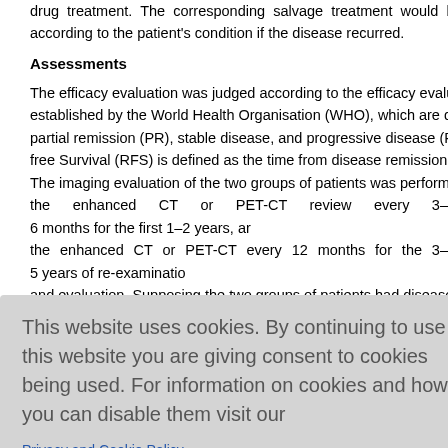drug treatment. The corresponding salvage treatment would be selected according to the patient's condition if the disease recurred.
Assessments
The efficacy evaluation was judged according to the efficacy evaluation criteria established by the World Health Organisation (WHO), which are divided into CR, partial remission (PR), stable disease, and progressive disease (PD). Relapse-free Survival (RFS) is defined as the time from disease remission to initial relapse. The imaging evaluation of the two groups of patients was performed according to the enhanced CT or PET-CT review every 3–6 months for the first 1–2 years, and the enhanced CT or PET-CT every 12 months for the 3–5 years of re-examination and evaluation. Supposing the two groups of patients had disease recurrence an... they would b... nt lymphom... must be pa... lucose, blo... The deadlin...
This website uses cookies. By continuing to use this website you are giving consent to cookies being used. For information on cookies and how you can disable them visit our
Privacy and Cookie Policy.
AGREE & PROCEED
...a conformin... ey the norm... distribution and was expressed as the median (range). The t-test or Z-te... compared the two groups of two independent samples. The number of cases a...